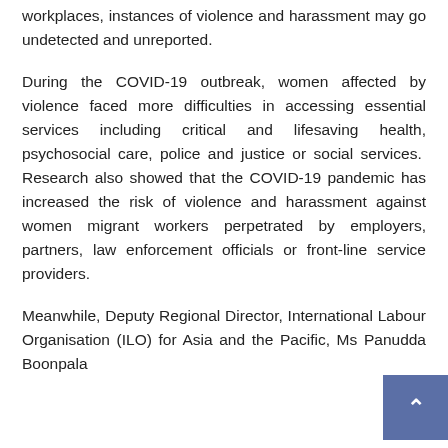workplaces, instances of violence and harassment may go undetected and unreported.
During the COVID-19 outbreak, women affected by violence faced more difficulties in accessing essential services including critical and lifesaving health, psychosocial care, police and justice or social services. Research also showed that the COVID-19 pandemic has increased the risk of violence and harassment against women migrant workers perpetrated by employers, partners, law enforcement officials or front-line service providers.
Meanwhile, Deputy Regional Director, International Labour Organisation (ILO) for Asia and the Pacific, Ms Panudda Boonpala